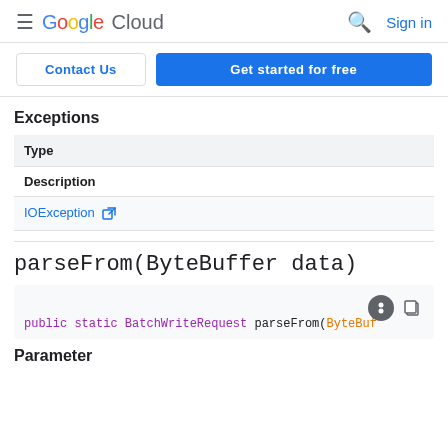Google Cloud | Sign in
[Figure (screenshot): Google Cloud navigation bar with hamburger menu, Google Cloud logo, search icon, and Sign in link]
[Figure (screenshot): Contact Us and Get started for free buttons]
Exceptions
| Type |
| --- |
| Description |
| IOException [external link] |
parseFrom(ByteBuffer data)
public static BatchWriteRequest parseFrom(ByteBuf
Parameter